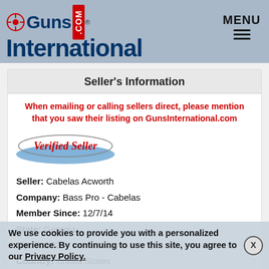[Figure (logo): GunsInternational.com logo with crosshair icon and tagline 'Gun Classifieds - The Easy Way']
Seller's Information
When emailing or calling sellers direct, please mention that you saw their listing on GunsInternational.com
[Figure (logo): Verified Seller badge with swoosh graphic]
Seller: Cabelas Acworth
Company: Bass Pro - Cabelas
Member Since: 12/7/14
State: Georgia
Zip: 30102
Country: United States
Phone: (470) 315-7462
Platinum Seller
We use cookies to provide you with a personalized experience. By continuing to use this site, you agree to our Privacy Policy.